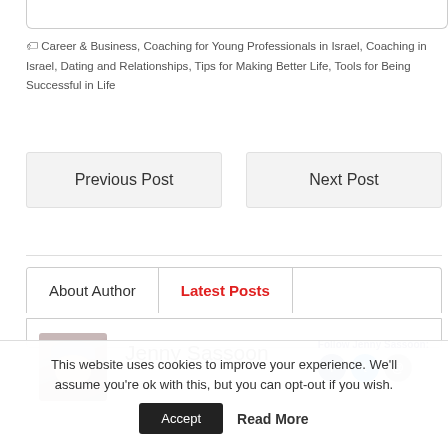Career & Business, Coaching for Young Professionals in Israel, Coaching in Israel, Dating and Relationships, Tips for Making Better Life, Tools for Being Successful in Life
Previous Post
Next Post
About Author
Latest Posts
Jenny Sassoon
Follow Jenny Sassoon:
This website uses cookies to improve your experience. We'll assume you're ok with this, but you can opt-out if you wish.
Accept
Read More